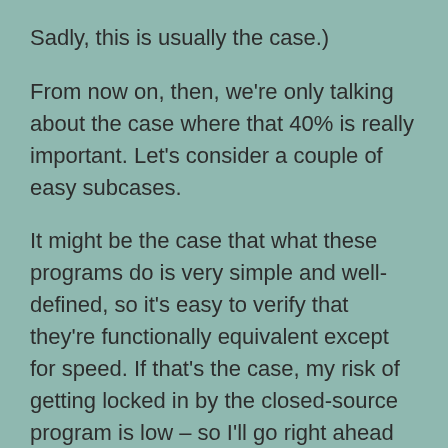Sadly, this is usually the case.)
From now on, then, we're only talking about the case where that 40% is really important. Let's consider a couple of easy subcases.
It might be the case that what these programs do is very simple and well-defined, so it's easy to verify that they're functionally equivalent except for speed. If that's the case, my risk of getting locked in by the closed-source program is low – so I'll go right ahead and use the closed-source one, knowing I can fall back to the open-source program at any time.